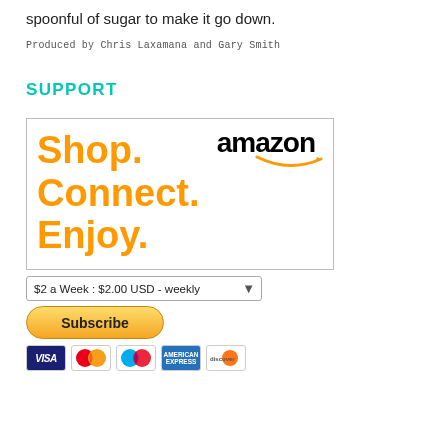spoonful of sugar to make it go down.
Produced by Chris Laxamana and Gary Smith
SUPPORT
[Figure (illustration): Amazon Shop. Connect. Enjoy. advertisement banner with Amazon logo and orange text.]
$2 a Week : $2.00 USD - weekly
Subscribe
[Figure (other): Payment icons: Visa, Mastercard, Maestro, American Express, Discover]